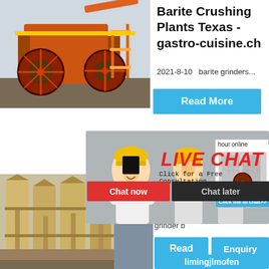[Figure (photo): Orange industrial crushing/mining machine outdoors, top-left quadrant]
Barite Crushing Plants Texas - gastro-cuisine.ch
2021-8-10   barite grinders...
Read More
[Figure (photo): Industrial silos/grinding mill interior, bottom-left quadrant]
[Figure (photo): Workers in yellow hard hats with Live Chat overlay popup]
LIVE CHAT
Click for a Free Consultation
Chat now
Chat later
hour online
Click me to chat>>
kociew
grinder b
Read
Enquiry
limingjlmofen